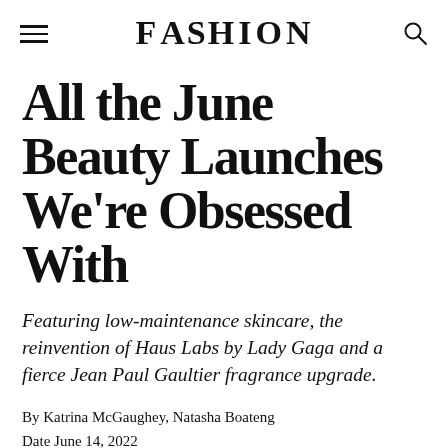FASHION
All the June Beauty Launches We’re Obsessed With
Featuring low-maintenance skincare, the reinvention of Haus Labs by Lady Gaga and a fierce Jean Paul Gaultier fragrance upgrade.
By Katrina McGaughey, Natasha Boateng
Date June 14, 2022